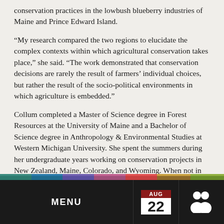conservation practices in the lowbush blueberry industries of Maine and Prince Edward Island.
“My research compared the two regions to elucidate the complex contexts within which agricultural conservation takes place,” she said. “The work demonstrated that conservation decisions are rarely the result of farmers’ individual choices, but rather the result of the socio-political environments in which agriculture is embedded.”
Collum completed a Master of Science degree in Forest Resources at the University of Maine and a Bachelor of Science degree in Anthropology & Environmental Studies at Western Michigan University. She spent the summers during her undergraduate years working on conservation projects in New Zealand, Maine, Colorado, and Wyoming. When not in the field or the classroom, you can usually find her playing with bees or exploring the beautiful Maine landscape with her husband, Patrick Lyons, and their dog, Ophelia.
MENU | AUG 22